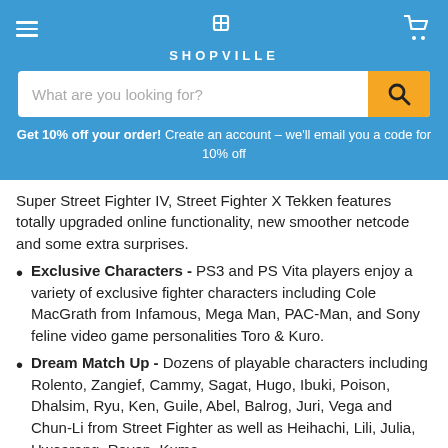SHOPVILLE
What are you looking for?
Get 10% off your order! Create an account - we'll email you a code for 10% off
Super Street Fighter IV, Street Fighter X Tekken features totally upgraded online functionality, new smoother netcode and some extra surprises.
Exclusive Characters - PS3 and PS Vita players enjoy a variety of exclusive fighter characters including Cole MacGrath from Infamous, Mega Man, PAC-Man, and Sony feline video game personalities Toro & Kuro.
Dream Match Up - Dozens of playable characters including Rolento, Zangief, Cammy, Sagat, Hugo, Ibuki, Poison, Dhalsim, Ryu, Ken, Guile, Abel, Balrog, Juri, Vega and Chun-Li from Street Fighter as well as Heihachi, Lili, Julia, Hwoarang, Raven, Kuma,